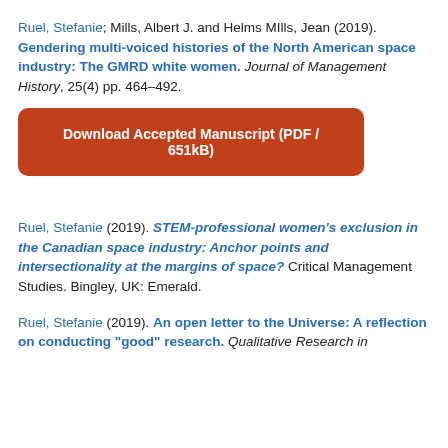Ruel, Stefanie; Mills, Albert J. and Helms MIlls, Jean (2019). Gendering multi-voiced histories of the North American space industry: The GMRD white women. Journal of Management History, 25(4) pp. 464–492.
Download Accepted Manuscript (PDF / 651kB)
Ruel, Stefanie (2019). STEM-professional women's exclusion in the Canadian space industry: Anchor points and intersectionality at the margins of space? Critical Management Studies. Bingley, UK: Emerald.
Ruel, Stefanie (2019). An open letter to the Universe: A reflection on conducting "good" research. Qualitative Research in